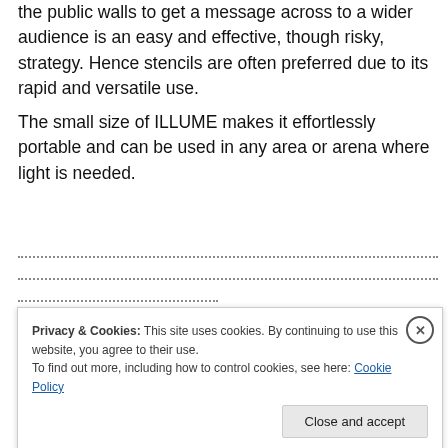the public walls to get a message across to a wider audience is an easy and effective, though risky, strategy. Hence stencils are often preferred due to its rapid and versatile use.
The small size of ILLUME makes it effortlessly portable and can be used in any area or arena where light is needed.
Privacy & Cookies: This site uses cookies. By continuing to use this website, you agree to their use.
To find out more, including how to control cookies, see here: Cookie Policy